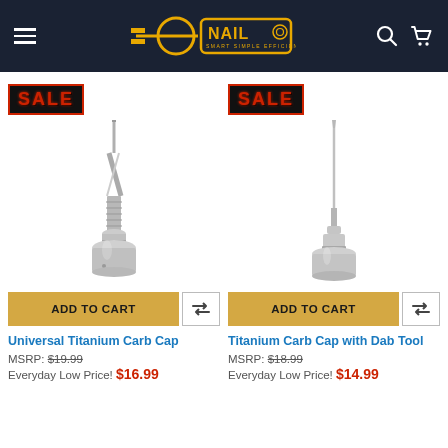[Figure (screenshot): E-Nail website header with dark navy background, hamburger menu, e-nail logo in yellow/gold, and search and cart icons]
[Figure (photo): SALE badge and product photo of Universal Titanium Carb Cap - a metallic titanium nail/carb cap accessory with threaded stem and wide base]
[Figure (photo): SALE badge and product photo of Titanium Carb Cap with Dab Tool - a metallic titanium tool with long thin spike and base]
ADD TO CART
ADD TO CART
Universal Titanium Carb Cap
Titanium Carb Cap with Dab Tool
MSRP: $19.99
Everyday Low Price! $16.99
MSRP: $18.99
Everyday Low Price! $14.99